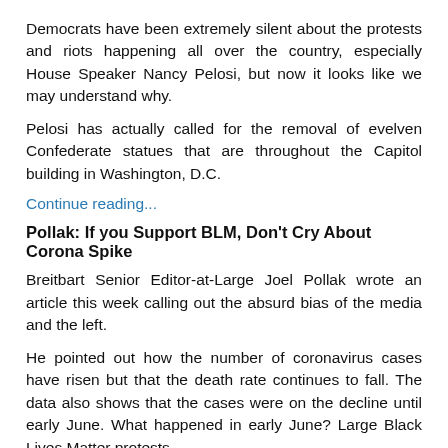Democrats have been extremely silent about the protests and riots happening all over the country, especially House Speaker Nancy Pelosi, but now it looks like we may understand why.
Pelosi has actually called for the removal of evelven Confederate statues that are throughout the Capitol building in Washington, D.C.
Continue reading...
Pollak: If you Support BLM, Don't Cry About Corona Spike
Breitbart Senior Editor-at-Large Joel Pollak wrote an article this week calling out the absurd bias of the media and the left.
He pointed out how the number of coronavirus cases have risen but that the death rate continues to fall. The data also shows that the cases were on the decline until early June. What happened in early June? Large Black Lives Matter protests.
Continue reading...
Watch: A$AP Rocky, Snoop Dogg, Other Rappers Criticize BLM
Just because you see some big celebrities promoting the Black